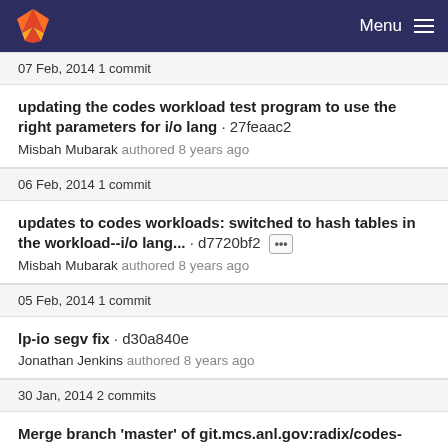GitLab Menu
07 Feb, 2014 1 commit
updating the codes workload test program to use the right parameters for i/o lang · 27feaac2
Misbah Mubarak authored 8 years ago
06 Feb, 2014 1 commit
updates to codes workloads: switched to hash tables in the workload--i/o lang... · d7720bf2 •••
Misbah Mubarak authored 8 years ago
05 Feb, 2014 1 commit
lp-io segv fix · d30a840e
Jonathan Jenkins authored 8 years ago
30 Jan, 2014 2 commits
Merge branch 'master' of git.mcs.anl.gov:radix/codes-base · 549ca83d